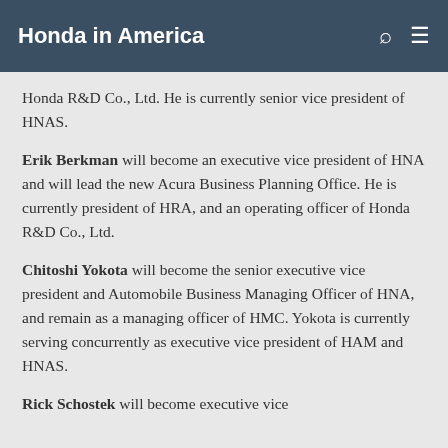Honda in America
Honda R&D Co., Ltd. He is currently senior vice president of HNAS.
Erik Berkman will become an executive vice president of HNA and will lead the new Acura Business Planning Office. He is currently president of HRA, and an operating officer of Honda R&D Co., Ltd.
Chitoshi Yokota will become the senior executive vice president and Automobile Business Managing Officer of HNA, and remain as a managing officer of HMC. Yokota is currently serving concurrently as executive vice president of HAM and HNAS.
Rick Schostek will become executive vice